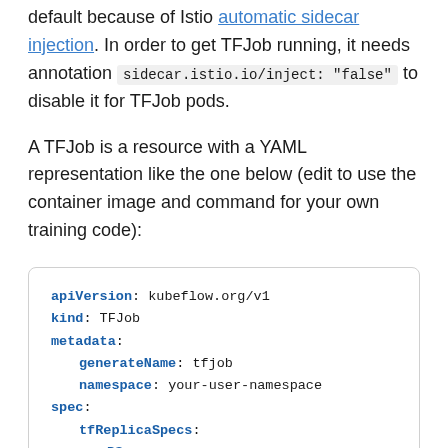default because of Istio automatic sidecar injection. In order to get TFJob running, it needs annotation sidecar.istio.io/inject: "false" to disable it for TFJob pods.
A TFJob is a resource with a YAML representation like the one below (edit to use the container image and command for your own training code):
apiVersion: kubeflow.org/v1
kind: TFJob
metadata:
  generateName: tfjob
  namespace: your-user-namespace
spec:
  tfReplicaSpecs:
    PS:
      replicas: 1
      restartPolicy: OnFailure
      template: